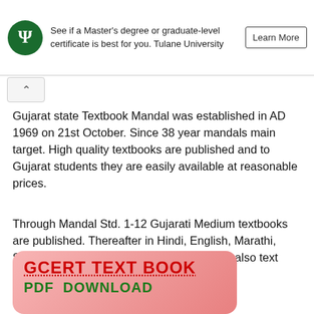[Figure (other): Tulane University advertisement banner with logo, text 'See if a Master’s degree or graduate-level certificate is best for you. Tulane University' and a 'Learn More' button]
Gujarat state Textbook Mandal was established in AD 1969 on 21st October. Since 38 year mandals main target. High quality textbooks are published and to Gujarat students they are easily available at reasonable prices.
Through Mandal Std. 1-12 Gujarati Medium textbooks are published. Thereafter in Hindi, English, Marathi, Sindhi, Urdu, Sanskrit and Tamil Language also text books are published.
[Figure (other): GCERT TEXT BOOK PDF DOWNLOAD promotional banner with pink/red gradient background]